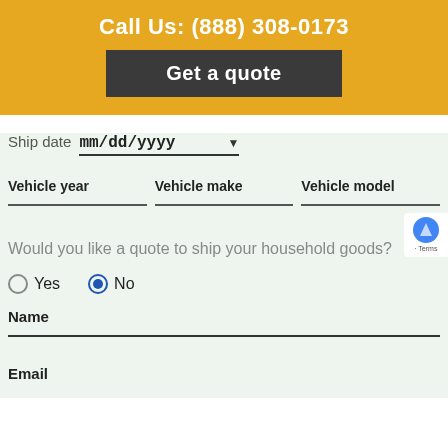Call Us: (888) 308-0173
Get a quote
Ship date mm/dd/yyyy
Vehicle year   Vehicle make   Vehicle model
Would you like a quote to ship your household goods?
Yes   No
Name
Email